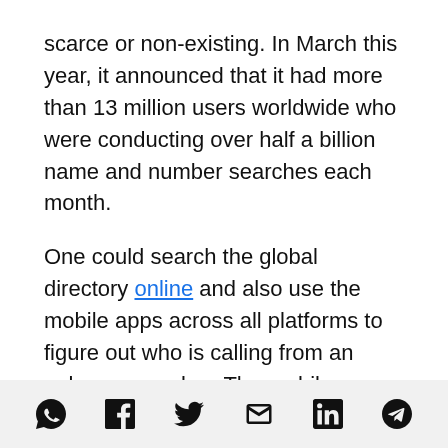scarce or non-existing. In March this year, it announced that it had more than 13 million users worldwide who were conducting over half a billion name and number searches each month.
One could search the global directory online and also use the mobile apps across all platforms to figure out who is calling from an unknown number. The mobile app also lets you block certain numbers.
The app uploads users’ phone books (with
Social share icons: WhatsApp, Facebook, Twitter, Email, LinkedIn, Telegram